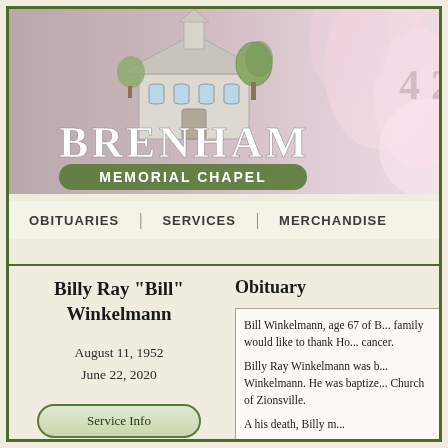[Figure (logo): Brenham Memorial Chapel logo with illustrated chapel/house building with tree, text BRENHAM in large letters and MEMORIAL CHAPEL on a banner below]
OBITUARIES | SERVICES | MERCHANDISE
Billy Ray "Bill" Winkelmann
August 11, 1952
June 22, 2020
Service Info
View Guestbook
Obituary
Bill Winkelmann, age 67 of B... family would like to thank Ho... cancer.

Billy Ray Winkelmann was b... Winkelmann. He was baptize... Church of Zionsville.